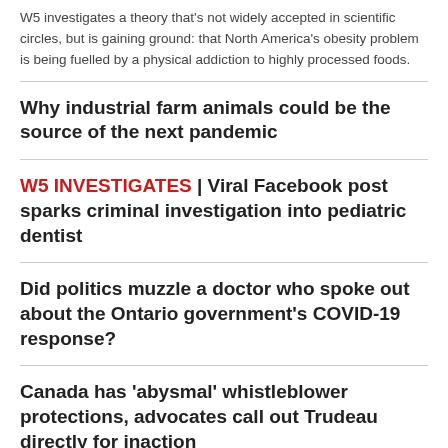W5 investigates a theory that's not widely accepted in scientific circles, but is gaining ground: that North America's obesity problem is being fuelled by a physical addiction to highly processed foods.
Why industrial farm animals could be the source of the next pandemic
W5 INVESTIGATES | Viral Facebook post sparks criminal investigation into pediatric dentist
Did politics muzzle a doctor who spoke out about the Ontario government's COVID-19 response?
Canada has 'abysmal' whistleblower protections, advocates call out Trudeau directly for inaction